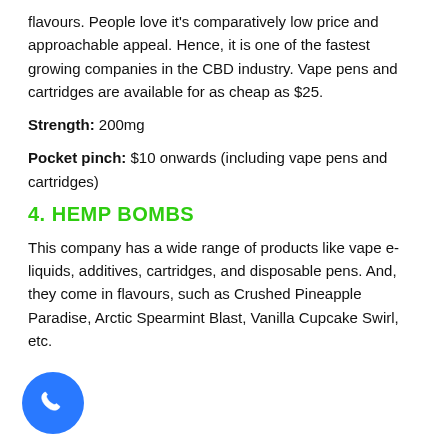flavours. People love it's comparatively low price and approachable appeal. Hence, it is one of the fastest growing companies in the CBD industry. Vape pens and cartridges are available for as cheap as $25.
Strength: 200mg
Pocket pinch: $10 onwards (including vape pens and cartridges)
4. HEMP BOMBS
This company has a wide range of products like vape e-liquids, additives, cartridges, and disposable pens. And, they come in flavours, such as Crushed Pineapple Paradise, Arctic Spearmint Blast, Vanilla Cupcake Swirl, etc.
[Figure (other): Blue circular phone call button in bottom-left corner]